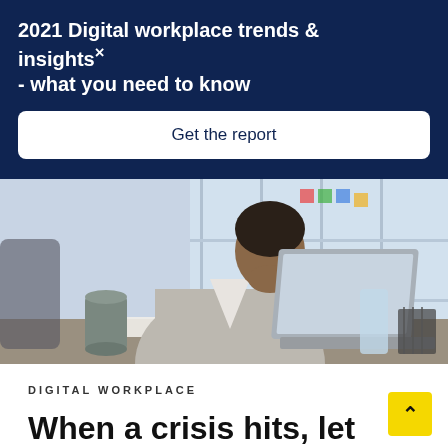2021 Digital workplace trends & insights - what you need to know
Get the report
[Figure (photo): A woman in a grey blazer working on a laptop at an office desk with a coffee cup, with large windows in the background]
DIGITAL WORKPLACE
When a crisis hits, let your digital workplace